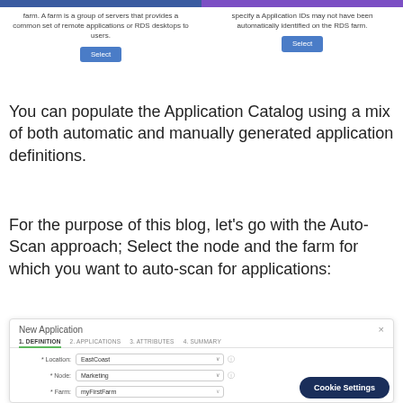farm. A farm is a group of servers that provides a common set of remote applications or RDS desktops to users.
specify a Application IDs may not have been automatically identified on the RDS farm.
You can populate the Application Catalog using a mix of both automatic and manually generated application definitions.
For the purpose of this blog, let’s go with the Auto-Scan approach; Select the node and the farm for which you want to auto-scan for applications:
[Figure (screenshot): New Application dialog box showing 4 steps: 1. DEFINITION (active, green underline), 2. APPLICATIONS, 3. ATTRIBUTES, 4. SUMMARY. Form fields: *Location: EastCoast, *Node: Marketing, *Farm: myFirstFarm. Cookie Settings button bottom right.]